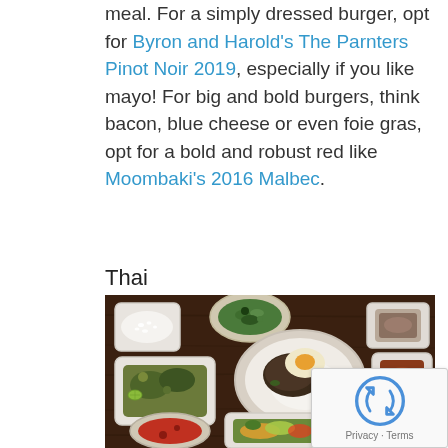meal. For a simply dressed burger, opt for Byron and Harold's The Parnters Pinot Noir 2019, especially if you like mayo! For big and bold burgers, think bacon, blue cheese or even foie gras, opt for a bold and robust red like Moombaki's 2016 Malbec.
Thai
[Figure (photo): Overhead view of Thai food spread with multiple takeaway containers on a dark wooden table, including rice, stir-fried dishes, soup, spring rolls, and papaya salad.]